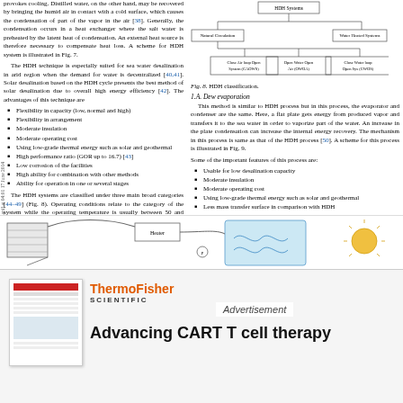provokes cooling. Distilled water, on the other hand, may be recovered by bringing the humid air in contact with a cold surface, which causes the condensation of part of the vapor in the air [38]. Generally, the condensation occurs in a heat exchanger where the salt water is preheated by the latent heat of condensation. An external heat source is therefore necessary to compensate heat loss. A scheme for HDH system is illustrated in Fig. 7.
The HDH technique is especially suited for sea water desalination in arid region when the demand for water is decentralized [40,41]. Solar desalination based on the HDH cycle presents the best method of solar desalination due to overall high energy efficiency [42]. The advantages of this technique are
Flexibility in capacity (low, normal and high)
Flexibility in arrangement
Moderate insulation
Moderate operating cost
Using low-grade thermal energy such as solar and geothermal
High performance ratio (GOR up to 16.7) [43]
Low corrosion of the facilities
High ability for combination with other methods
Ability for operation in one or several stages
The HDH systems are classified under three main broad categories [44-49] (Fig. 8). Operating conditions relate to the category of the system while the operating temperature is usually between 50 and 90°C. Water close loop or air close loop can increase the internal energy recovery and decrease the total energy consumption.
[Figure (flowchart): HDH classification flowchart showing HDH Systems branching into Natural Circulation and Water Heated Systems, further subdividing into Close Air loop Open System, Open Water Open Air, and Close Water loop Open System]
Fig. 8. HDH classification.
1.A. Dew evaporation
This method is similar to HDH process but in this process, the evaporator and condenser are the same. Here, a flat plate gets energy from produced vapor and transfers it to the sea water in order to vaporize part of the water. An increase in the plate condensation can increase the internal energy recovery. The mechanism in this process is same as that of the HDH process [50]. A scheme for this process is illustrated in Fig. 9.
Some of the important features of this process are:
Usable for low desalination capacity
Moderate insulation
Moderate operating cost
Using low-grade thermal energy such as solar and geothermal
Less mass transfer surface in comparison with HDH
Less space occupation in comparison with HDH
GOR up to 11 (in multi-stage systems) [52]
The thermal desalination methods are summarized in Table 1.
[Figure (schematic): Engineering schematic diagram showing HDH system components including heater and water flow paths]
[Figure (other): Advertisement for ThermoFisher Scientific – Advancing CART T cell therapy]